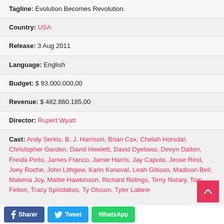Tagline: Evolution Becomes Revolution.
Country: USA
Release: 3 Aug 2011
Language: English
Budget: $ 93.000.000,00
Revenue: $ 482.860.185,00
Director: Rupert Wyatt
Cast: Andy Serkis, B. J. Harrison, Brian Cox, Chelah Horsdal, Christopher Gordon, David Hewlett, David Oyelowo, Devyn Dalton, Freida Pinto, James Franco, Jamie Harris, Jay Caputo, Jesse Reid, Joey Roche, John Lithgow, Karin Konoval, Leah Gibson, Madison Bell, Makena Joy, Mattie Hawkinson, Richard Ridings, Terry Notary, Tom Felton, Tracy Spiridakos, Ty Olsson, Tyler Labine
Sharer  Tweet  WhatsApp